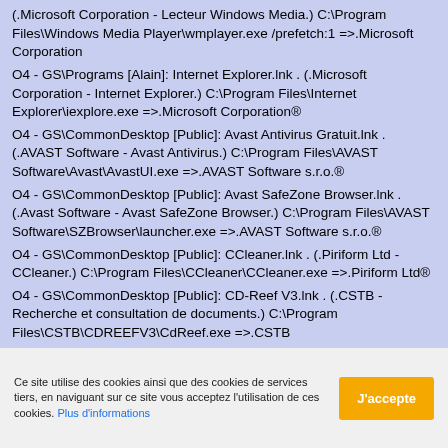(.Microsoft Corporation - Lecteur Windows Media.) C:\Program Files\Windows Media Player\wmplayer.exe /prefetch:1 =>.Microsoft Corporation
O4 - GS\Programs [Alain]: Internet Explorer.lnk . (.Microsoft Corporation - Internet Explorer.) C:\Program Files\Internet Explorer\iexplore.exe =>.Microsoft Corporation®
O4 - GS\CommonDesktop [Public]: Avast Antivirus Gratuit.lnk . (.AVAST Software - Avast Antivirus.) C:\Program Files\AVAST Software\Avast\AvastUI.exe =>.AVAST Software s.r.o.®
O4 - GS\CommonDesktop [Public]: Avast SafeZone Browser.lnk . (.Avast Software - Avast SafeZone Browser.) C:\Program Files\AVAST Software\SZBrowser\launcher.exe =>.AVAST Software s.r.o.®
O4 - GS\CommonDesktop [Public]: CCleaner.lnk . (.Piriform Ltd - CCleaner.) C:\Program Files\CCleaner\CCleaner.exe =>.Piriform Ltd®
O4 - GS\CommonDesktop [Public]: CD-Reef V3.lnk . (.CSTB - Recherche et consultation de documents.) C:\Program Files\CSTB\CDREEFV3\CdReef.exe =>.CSTB
O4 - GS\CommonDesktop [Public]: Garmin Express.lnk .
Ce site utilise des cookies ainsi que des cookies de services tiers, en naviguant sur ce site vous acceptez l'utilisation de ces cookies. Plus d'informations